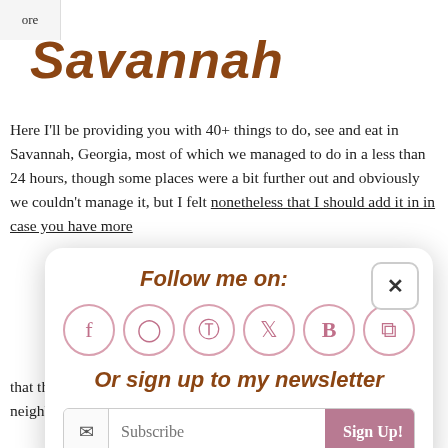ore
Savannah
Here I'll be providing you with 40+ things to do, see and eat in Savannah, Georgia, most of which we managed to do in a less than 24 hours, though some places were a bit further out and obviously we couldn't manage it, but I felt nonetheless that I should add it in in case you have more
[Figure (infographic): A popup overlay with 'Follow me on:' heading, six social media icon circles (Facebook, Instagram, Pinterest, Twitter, Bloglovin, RSS), 'Or sign up to my newsletter' text, and an email subscribe form with Sign Up button. Has a close (x) button in upper right.]
that the city is methodically laid out in perfect unison and for each neighborhood, there is a beautiful square. Since